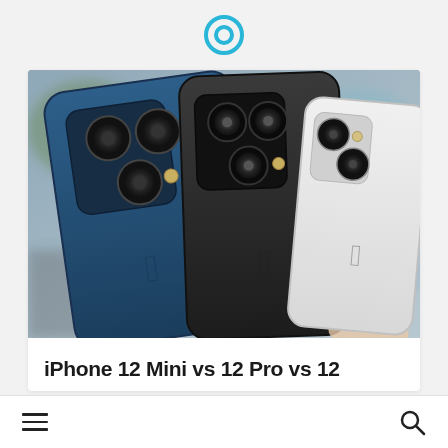[Figure (photo): Three iPhone 12 models shown from the back — a blue iPhone 12 Pro Max on the left, a dark graphite iPhone 12 Pro in the middle, and a white/silver iPhone 12 Mini on the right, being held by a hand.]
iPhone 12 Mini vs 12 Pro vs 12